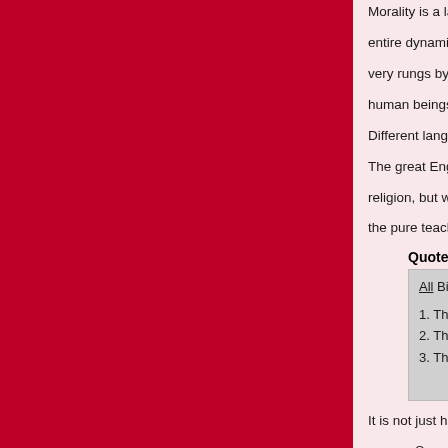Morality is a ladder we climb up, from lower nature to higher nature... entire dynamic between them shifts. Instead of inspiring... very rungs by which we would climb the ladder. We un... human beings. We battle our own nature rather than b...
Different language may wake up Christian moralists: w...
The great English poet, William Blake, was an astute o... religion, but was not irreligious. He described his perso... the pure teachings of Jesus Christ. Blake had this to sa...
Quote:
All Bibles or sacred codes, have been the causes of...
1. That Man has two real existing principles Viz: a Bo...
2. That Energy, call'd Evil, is alone from the Body, &...
3. That God will torment Man in Eternity for following...
-- The Marriage...
It is not just human nature that moralists split into good... camps. Sometimes the language is 'right vs. wrong', so... Regardless of language though, false moralism sees th...
THE FLAW OF...
This entire paradigm of divided life at war with itself is f...